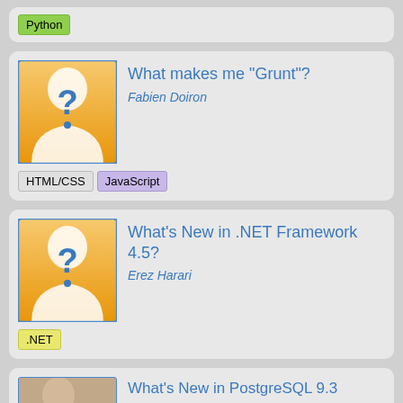Python (tag)
[Figure (illustration): Placeholder avatar icon with question mark on orange/yellow gradient background]
What makes me "Grunt"?
Fabien Doiron
HTML/CSS
JavaScript
[Figure (illustration): Placeholder avatar icon with question mark on orange/yellow gradient background]
What's New in .NET Framework 4.5?
Erez Harari
.NET
What's New in PostgreSQL 9.3